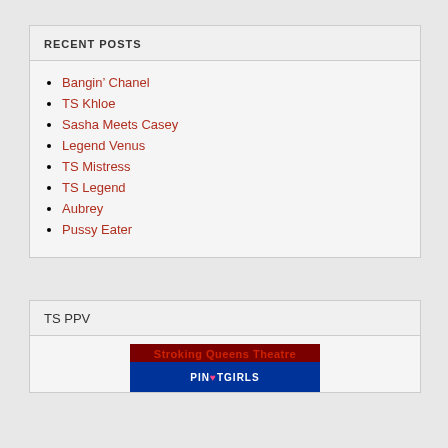RECENT POSTS
Bangin’ Chanel
TS Khloe
Sasha Meets Casey
Legend Venus
TS Mistress
TS Legend
Aubrey
Pussy Eater
TS PPV
[Figure (photo): Promotional image with red background showing 'Stroking Queens Theatre' text in red, and a blue banner with 'PINUPGIRLS' text below]